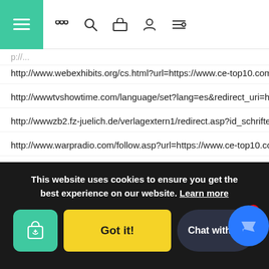Navigation bar with menu, search, cart, account, and filter icons
http://www.webexhibits.org/cs.html?url=https://www.ce-top10.com/
http://www.tvshowtime.com/language/set?lang=es&redirect_uri=https://v
http://wwwzb2.fz-juelich.de/verlagextern1/redirect.asp?id_schriften=4035:
http://www.warpradio.com/follow.asp?url=https://www.ce-top10.com/
http://www0.powerware.com/pp/cc/chknew.asp?T=1&url=https://www.ce
http://www.uniflip.com/trackbannerclick.php?url=https://www.ce-top10.c
http://www65.myfantasyleague.com/1989/mfl_redirect?TRACK=1&LOCAT
http://www.sukrbnat.com/redirector.php?url=https://www.ce-top10.com/
.ce-top10.c
This website uses cookies to ensure you get the best experience on our website. Learn more
Got it!
Chat with us
236&
https://auth.indiatoday.in/saml_logout?ReturnTo=https://www.ce-top10.c